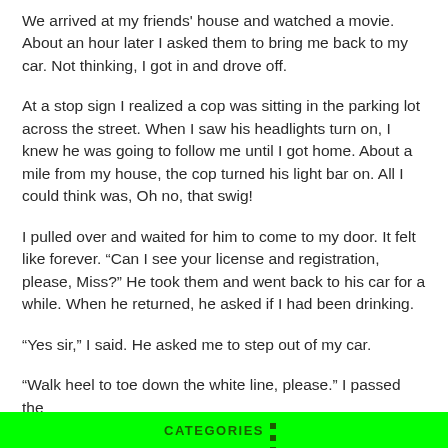We arrived at my friends' house and watched a movie. About an hour later I asked them to bring me back to my car. Not thinking, I got in and drove off.
At a stop sign I realized a cop was sitting in the parking lot across the street. When I saw his headlights turn on, I knew he was going to follow me until I got home. About a mile from my house, the cop turned his light bar on. All I could think was, Oh no, that swig!
I pulled over and waited for him to come to my door. It felt like forever. “Can I see your license and registration, please, Miss?” He took them and went back to his car for a while. When he returned, he asked if I had been drinking.
“Yes sir,” I said. He asked me to step out of my car.
“Walk heel to toe down the white line, please.” I passed the
CATEGORIES